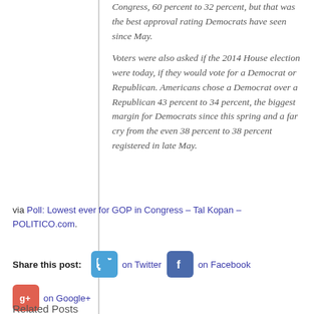Congress, 60 percent to 32 percent, but that was the best approval rating Democrats have seen since May.
Voters were also asked if the 2014 House election were today, if they would vote for a Democrat or Republican. Americans chose a Democrat over a Republican 43 percent to 34 percent, the biggest margin for Democrats since this spring and a far cry from the even 38 percent to 38 percent registered in late May.
via Poll: Lowest ever for GOP in Congress – Tal Kopan – POLITICO.com.
Share this post: on Twitter on Facebook on Google+
Related Posts